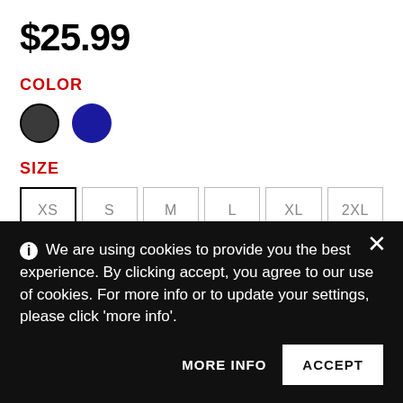$25.99
COLOR
[Figure (other): Two color swatches: black (selected, with border) and dark blue (solid circle)]
SIZE
XS  S  M  L  XL  2XL
We are using cookies to provide you the best experience. By clicking accept, you agree to our use of cookies. For more info or to update your settings, please click 'more info'.
MORE INFO   ACCEPT